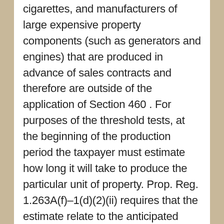cigarettes, and manufacturers of large expensive property components (such as generators and engines) that are produced in advance of sales contracts and therefore are outside of the application of Section 460 . For purposes of the threshold tests, at the beginning of the production period the taxpayer must estimate how long it will take to produce the particular unit of property. Prop. Reg. 1.263A(f)-1(d)(2)(ii) requires that the estimate relate to the anticipated time of actual production, taking into account work delays, suspension of production, rework and change orders, and production problems. Where a contractor produces property under a contract for a customer, a special rule (discussed below) deems the production